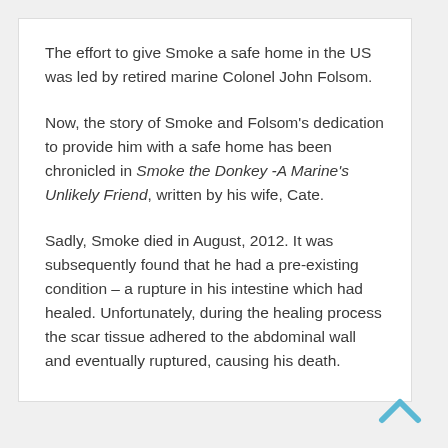The effort to give Smoke a safe home in the US was led by retired marine Colonel John Folsom.
Now, the story of Smoke and Folsom's dedication to provide him with a safe home has been chronicled in Smoke the Donkey -A Marine's Unlikely Friend, written by his wife, Cate.
Sadly, Smoke died in August, 2012. It was subsequently found that he had a pre-existing condition – a rupture in his intestine which had healed. Unfortunately, during the healing process the scar tissue adhered to the abdominal wall and eventually ruptured, causing his death.
[Figure (other): Back to top chevron arrow icon in light blue]